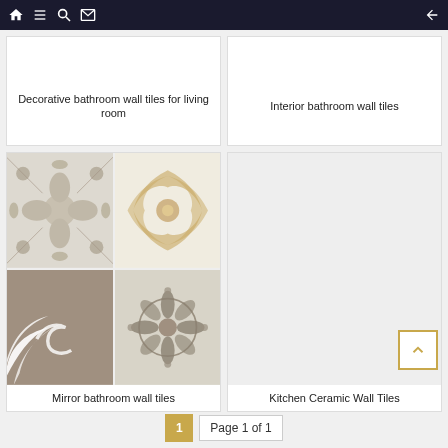Navigation bar with home, list, search, email icons and back arrow
Decorative bathroom wall tiles for living room
Interior bathroom wall tiles
[Figure (photo): Four decorative ceramic wall tiles in a 2x2 grid: top-left shows gray floral/cross pattern, top-right shows beige baroque scroll pattern, bottom-left shows white ornate scroll on dark background, bottom-right shows gray flower medallion pattern]
Mirror bathroom wall tiles
Kitchen Ceramic Wall Tiles
1  Page 1 of 1